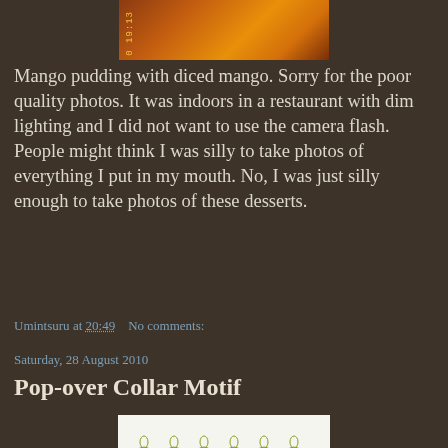[Figure (photo): Top portion of a food photo showing mango pudding with orange/red colors, with a timestamp 0 19:13 visible]
Mango pudding with diced mango. Sorry for the poor quality photos. It was indoors in a restaurant with dim lighting and I did not want to use the camera flash. People might think I was silly to take photos of everything I put in my mouth. No, I was just silly enough to take photos of these desserts.
Umintsuru at 20:49    No comments:
Saturday, 28 August 2010
Pop-over Collar Motif
[Figure (photo): Photo of green and yellow tatted lace in a collar motif pattern on a white background]